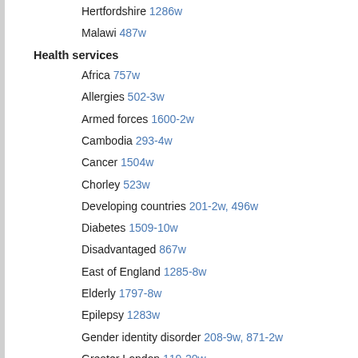Hertfordshire 1286w
Malawi 487w
Health services
Africa 757w
Allergies 502-3w
Armed forces 1600-2w
Cambodia 293-4w
Cancer 1504w
Chorley 523w
Developing countries 201-2w, 496w
Diabetes 1509-10w
Disadvantaged 867w
East of England 1285-8w
Elderly 1797-8w
Epilepsy 1283w
Gender identity disorder 208-9w, 871-2w
Greater London 119-20w
HIV infection 513-4w
Lung cancer 1799w